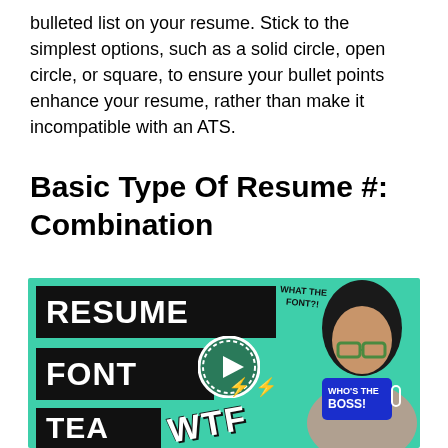bulleted list on your resume. Stick to the simplest options, such as a solid circle, open circle, or square, to ensure your bullet points enhance your resume, rather than make it incompatible with an ATS.
Basic Type Of Resume #: Combination
[Figure (illustration): Video thumbnail for 'Resume Font Tea' featuring a teal background, text banners reading RESUME, FONT, TEA in black boxes, a play button circle, WTF text, lightning bolts, and a person holding a mug that reads WHO'S THE BOSS. Handwritten text says WHAT THE FONT?!]